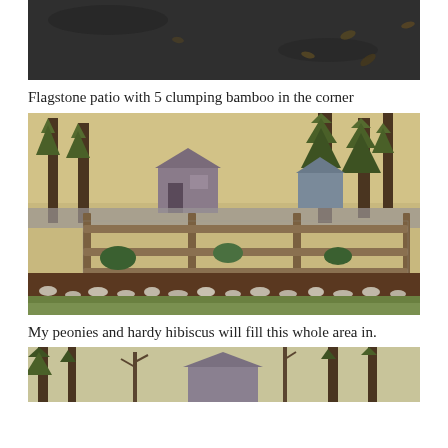[Figure (photo): Top portion of a photo showing dark asphalt/pavement with scattered leaves]
Flagstone patio with 5 clumping bamboo in the corner
[Figure (photo): Outdoor landscape photo showing a garden area with a split-rail fence, mulched planting beds bordered by river rocks, shrubs and plants, and tall pine trees in the background with houses visible]
My peonies and hardy hibiscus will fill this whole area in.
[Figure (photo): Bottom partial photo showing trees and a structure, cut off at page bottom]